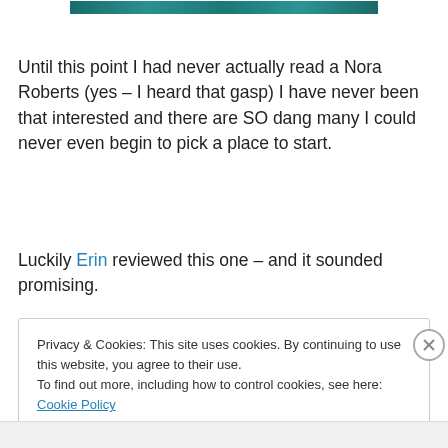[Figure (photo): Cropped top portion of an image with teal/green tones, partially visible at the top of the page]
Until this point I had never actually read a Nora Roberts (yes – I heard that gasp) I have never been that interested and there are SO dang many I could never even begin to pick a place to start.
Luckily Erin reviewed this one – and it sounded promising.
Privacy & Cookies: This site uses cookies. By continuing to use this website, you agree to their use.
To find out more, including how to control cookies, see here: Cookie Policy

Close and accept